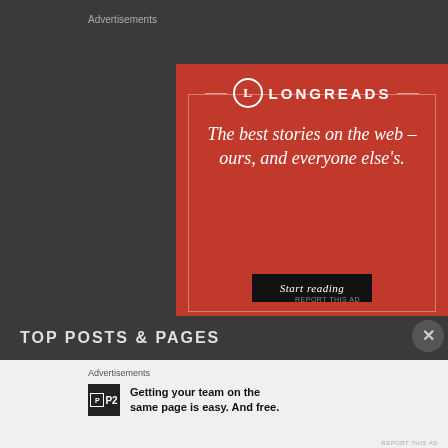Advertisements
[Figure (illustration): Longreads advertisement banner on red background with logo, tagline 'The best stories on the web – ours, and everyone else's.' and 'Start reading' button]
REPORT THIS AD
TOP POSTS & PAGES
Advertisements
Getting your team on the same page is easy. And free.
REPORT THIS AD